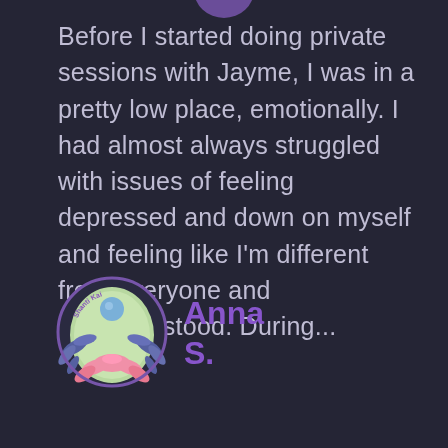[Figure (logo): Partial logo at top center, cut off]
Before I started doing private sessions with Jayme, I was in a pretty low place, emotionally. I had almost always struggled with issues of feeling depressed and down on myself and feeling like I'm different from everyone and misunderstood. During...
[Figure (logo): Shanti Kai logo: circular emblem with green background, blue sphere, lotus flower, and decorative leaves with 'Shanti Kai' text arc at top]
Anna S.